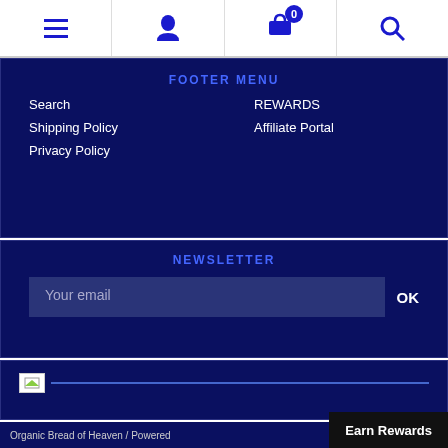Navigation bar with menu, account, cart (0), search icons
FOOTER MENU
Search
Shipping Policy
Privacy Policy
REWARDS
Affiliate Portal
NEWSLETTER
Your email
OK
[Figure (logo): Logo image placeholder with horizontal bar]
Organic Bread of Heaven / Powered   Earn Rewards